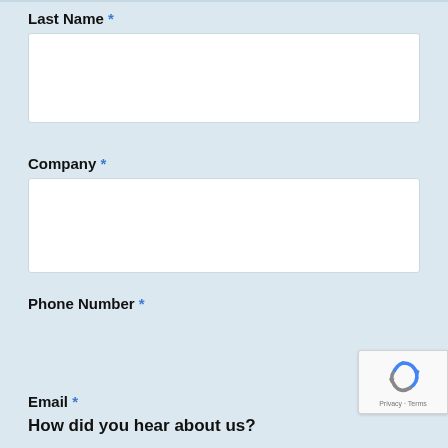Last Name *
Company *
Phone Number *
Email *
How did you hear about us?